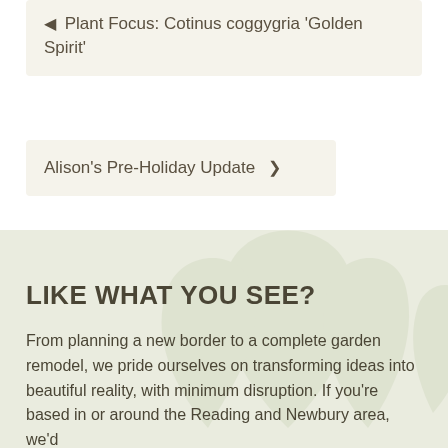◀ Plant Focus: Cotinus coggygria 'Golden Spirit'
Alison's Pre-Holiday Update ❯
LIKE WHAT YOU SEE?
From planning a new border to a complete garden remodel, we pride ourselves on transforming ideas into beautiful reality, with minimum disruption. If you're based in or around the Reading and Newbury area, we'd